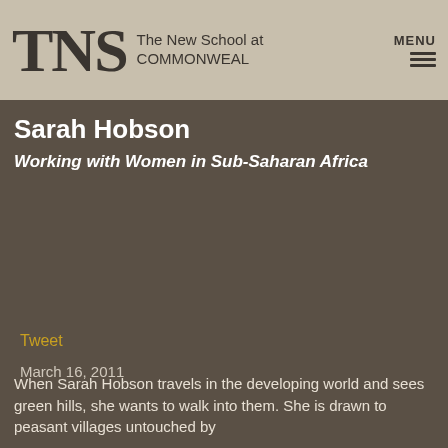TNS The New School at COMMONWEAL
Sarah Hobson
Working with Women in Sub-Saharan Africa
Tweet
March 16, 2011
When Sarah Hobson travels in the developing world and sees green hills, she wants to walk into them. She is drawn to peasant villages untouched by